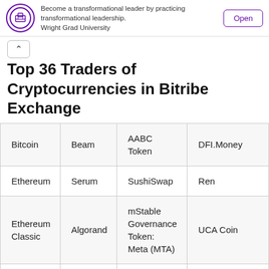[Figure (logo): Wright Grad University logo — circular purple seal]
Become a transformational leader by practicing transformational leadership. Wright Grad University
Open
Top 36 Traders of Cryptocurrencies in Bitribe Exchange
| Bitcoin | Beam | AABC Token | DFI.Money |
| Ethereum | Serum | SushiSwap | Ren |
| Ethereum Classic | Algorand | mStable Governance Token: Meta (MTA) | UCA Coin |
| Litecoin | Qtum | Compound | Harvest Fina... |